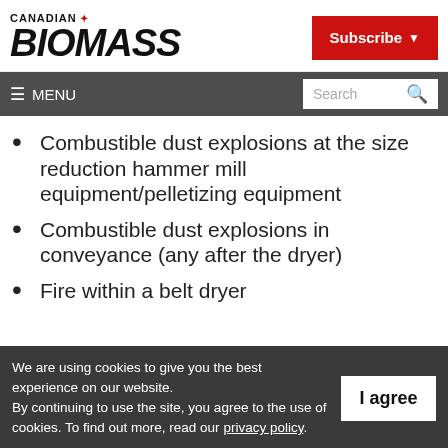CANADIAN BIOMASS
Subscribe
MENU | Search
Combustible dust explosions at the size reduction hammer mill equipment/pelletizing equipment
Combustible dust explosions in conveyance (any after the dryer)
Fire within a belt dryer
We are using cookies to give you the best experience on our website. By continuing to use the site, you agree to the use of cookies. To find out more, read our privacy policy.
I agree